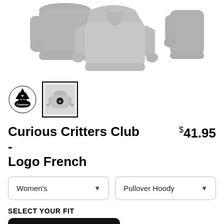[Figure (photo): Gray pullover hoodie shown from front, back, and side angle views on white background]
[Figure (logo): Curious Critters Club logo - black circular design with trees]
[Figure (photo): Thumbnail of hoodie with Curious Critters Club logo on front, selected with black border]
Curious Critters Club - Logo French
$41.95
Women's
Pullover Hoody
SELECT YOUR FIT
$41.95
French Terry